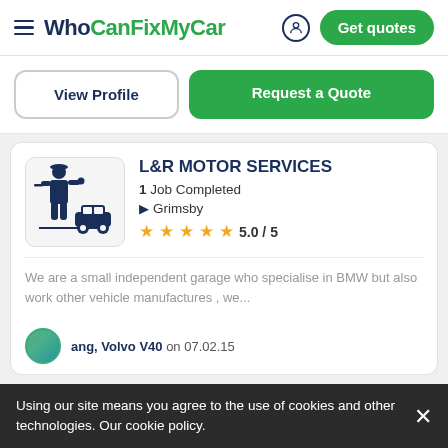WhoCanFixMyCar — Get quotes
View Profile | Request a Quote
L&R MOTOR SERVICES
1 Job Completed
Grimsby
5.0 / 5
We are a small independent garage who specialise in BMW but also work other vehicle manufactures , we...
ang, Volvo V40 on 07.02.15
Using our site means you agree to the use of cookies and other technologies. Our cookie policy.